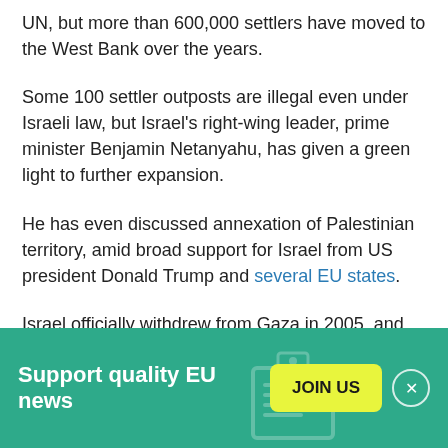UN, but more than 600,000 settlers have moved to the West Bank over the years.
Some 100 settler outposts are illegal even under Israeli law, but Israel's right-wing leader, prime minister Benjamin Netanyahu, has given a green light to further expansion.
He has even discussed annexation of Palestinian territory, amid broad support for Israel from US president Donald Trump and several EU states.
Israel officially withdrew from Gaza in 2005, and does not regard itself as an occupying power - but left the two
[Figure (infographic): Green banner advertisement: 'Support quality EU news' with a yellow 'JOIN US' button and a close (X) button]